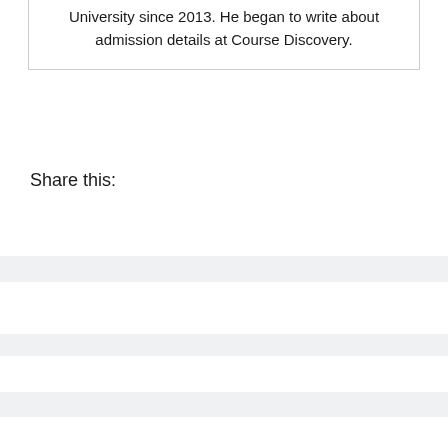University since 2013. He began to write about admission details at Course Discovery.
Share this:
[Figure (other): Light gray horizontal stripe divider bar]
[Figure (other): Light gray horizontal stripe divider bar]
[Figure (other): Light gray horizontal stripe divider bar with close (×) button on the right]